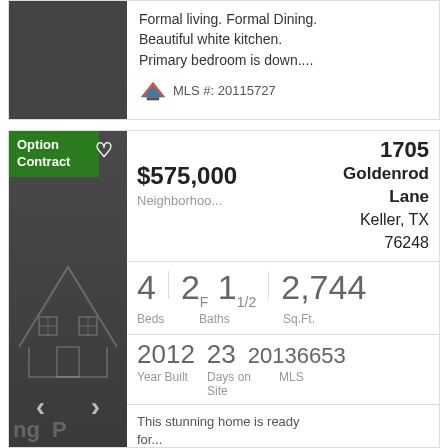Formal living. Formal Dining. Beautiful white kitchen. Primary bedroom is down....
MLS #: 20115727
[Figure (screenshot): Real estate listing card for 1705 Goldenrod Lane, Keller TX 76248, showing dark house illustration with Option Contract badge, price $575,000, 4 beds, 2F 1½ baths, 2,744 sq ft, built 2012, 23 days on site, MLS 20136653]
1705 Goldenrod Lane Keller, TX 76248
$575,000
Neighborhoo...
4 Beds  2F 1½ Baths  2,744 Sq.Ft.
2012 Year Built  23 Days on Site  20136653 MLS
This stunning home is ready for...